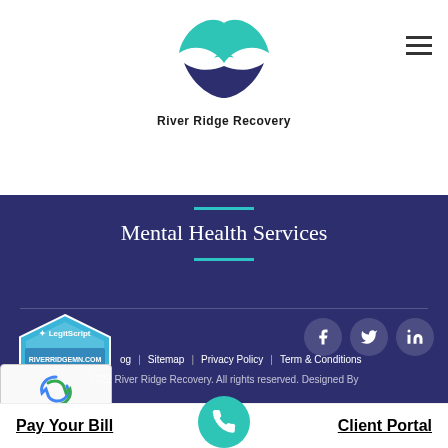[Figure (logo): River Ridge Recovery logo: teal bird/wave shape above dark blue wave, with text 'River Ridge Recovery' below]
[Figure (other): Hamburger menu icon (three horizontal lines) in top right]
Mental Health Services
[Figure (other): LegitScript certified badge for RIVERRIDGEMN.COM, 08/26/22]
[Figure (other): Social media icons: Facebook, Twitter, LinkedIn]
[Figure (other): Google reCAPTCHA widget showing 'Privacy - Terms']
og | Sitemap | Privacy Policy | Term & Conditions
2022 River Ridge Recovery. All rights reserved. Designed By
Pay Your Bill
Client Portal
[Figure (other): Phone call button (teal circle with phone icon)]